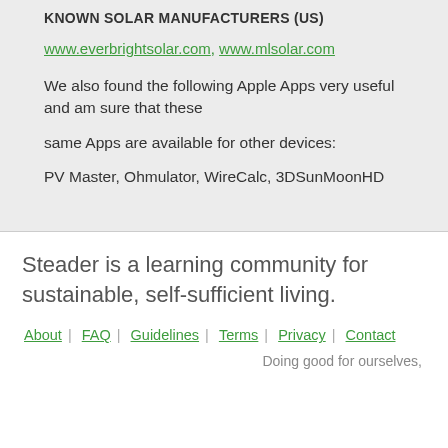KNOWN SOLAR MANUFACTURERS (US)
www.everbrightsolar.com, www.mlsolar.com
We also found the following Apple Apps very useful and am sure that these same Apps are available for other devices: PV Master, Ohmulator, WireCalc, 3DSunMoonHD
Steader is a learning community for sustainable, self-sufficient living.
About | FAQ | Guidelines | Terms | Privacy | Contact
Doing good for ourselves,